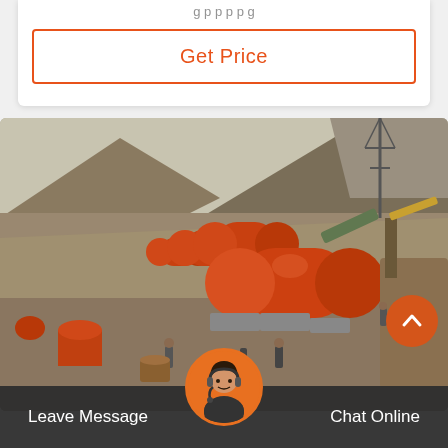[Figure (other): Get Price button with orange border in a white card section at top]
[Figure (photo): Outdoor mining site photo showing large red cylindrical ball mills arranged in a row on a hillside, with workers and mountains in the background]
Leave Message
Chat Online